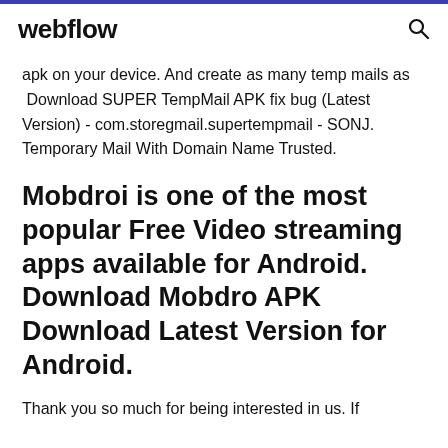webflow
apk on your device. And create as many temp mails as  Download SUPER TempMail APK fix bug (Latest Version) - com.storegmail.supertempmail - SONJ. Temporary Mail With Domain Name Trusted.
Mobdroi is one of the most popular Free Video streaming apps available for Android. Download Mobdro APK Download Latest Version for Android.
Thank you so much for being interested in us. If